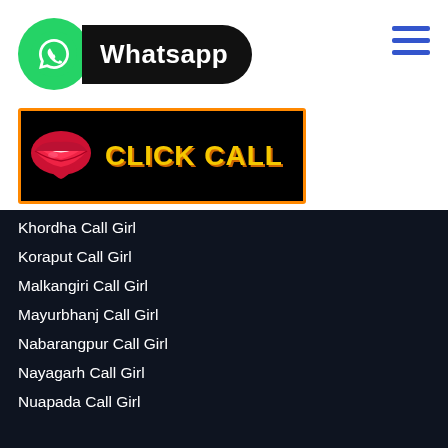[Figure (logo): WhatsApp logo badge with green circle icon and black pill-shaped label reading 'Whatsapp']
[Figure (illustration): Black banner with orange border showing red lips icon on left and yellow bold text 'CLICK CALL' on right]
[Figure (other): Hamburger menu icon with three blue horizontal lines]
Khordha Call Girl
Koraput Call Girl
Malkangiri Call Girl
Mayurbhanj Call Girl
Nabarangpur Call Girl
Nayagarh Call Girl
Nuapada Call Girl